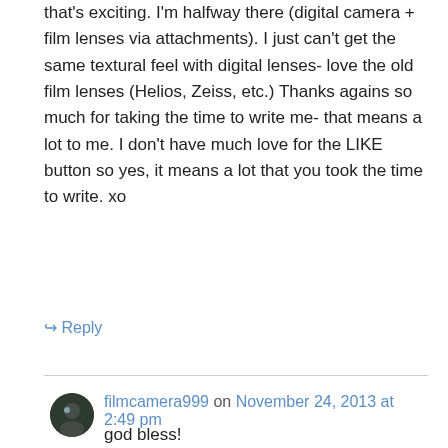that's exciting. I'm halfway there (digital camera + film lenses via attachments). I just can't get the same textural feel with digital lenses- love the old film lenses (Helios, Zeiss, etc.) Thanks agains so much for taking the time to write me- that means a lot to me. I don't have much love for the LIKE button so yes, it means a lot that you took the time to write. xo
↳ Reply
filmcamera999 on November 24, 2013 at 2:49 pm
god bless!